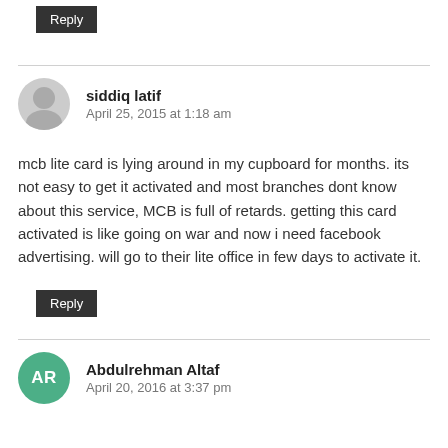Reply
siddiq latif
April 25, 2015 at 1:18 am
mcb lite card is lying around in my cupboard for months. its not easy to get it activated and most branches dont know about this service, MCB is full of retards. getting this card activated is like going on war and now i need facebook advertising. will go to their lite office in few days to activate it.
Reply
Abdulrehman Altaf
April 20, 2016 at 3:37 pm